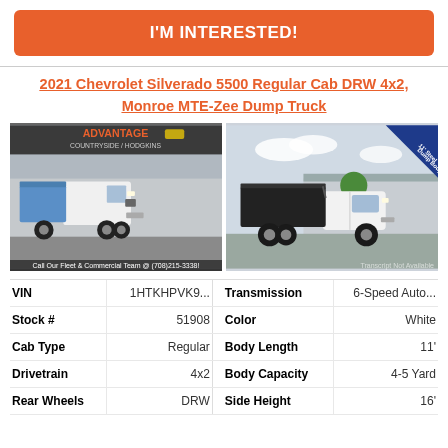I'M INTERESTED!
2021 Chevrolet Silverado 5500 Regular Cab DRW 4x2, Monroe MTE-Zee Dump Truck
[Figure (photo): Dealer photo of white Chevrolet Silverado 5500 dump truck from front-three-quarter view, with Advantage Countryside/Hodgkins dealer overlay and text: Call Our Fleet & Commercial Team @ (708)215-3338!]
[Figure (photo): Side profile photo of white Chevrolet Silverado 5500 dump truck with black dump body, blue corner banner reading '11' Steel Dump Body']
| Field | Value | Field | Value |
| --- | --- | --- | --- |
| VIN | 1HTKHPVK9... | Transmission | 6-Speed Auto... |
| Stock # | 51908 | Color | White |
| Cab Type | Regular | Body Length | 11' |
| Drivetrain | 4x2 | Body Capacity | 4-5 Yard |
| Rear Wheels | DRW | Side Height | 16' |